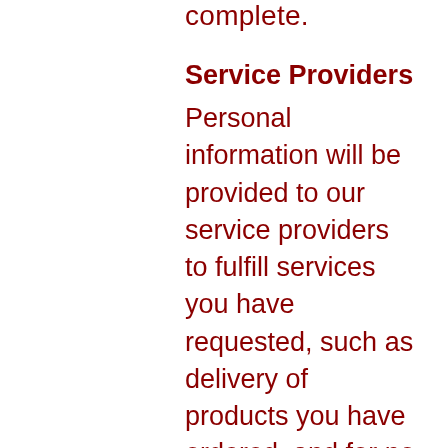complete.
Service Providers
Personal information will be provided to our service providers to fulfill services you have requested, such as delivery of products you have ordered, and for no other purposes. Our service providers are carefully selected and required to comply with strict privacy standards.